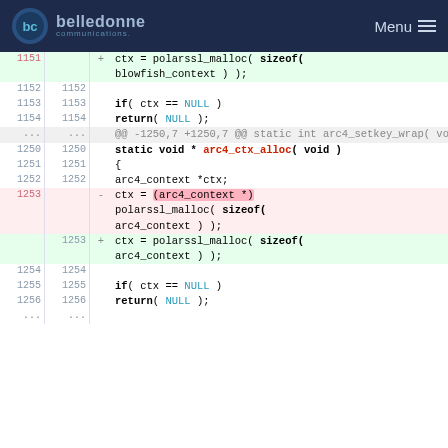[Figure (screenshot): Belledonne Communications website header with logo and Menu button]
Code diff showing polarssl_malloc/arc4_ctx_alloc changes across lines 1151-1256, with deleted line using cast (arc4_context *) and added line without cast.